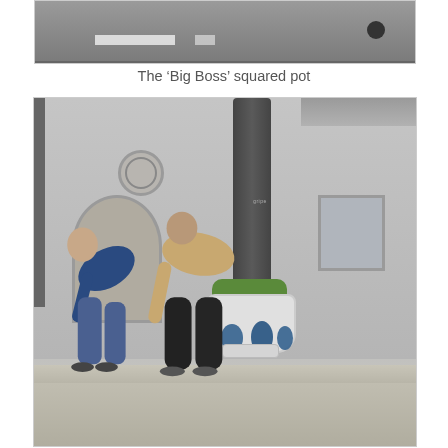[Figure (photo): Top portion of a photo showing a road/asphalt surface with white road markings, partially cropped at the top of the page.]
The ‘Big Boss’ squared pot
[Figure (photo): Outdoor photo showing two people bending over a concrete ledge next to a large decorative white ceramic pot with blue oval patterns and green plants on top, placed next to a large dark metal pipe/column against a grey building wall with an arched niche and circular ornament.]